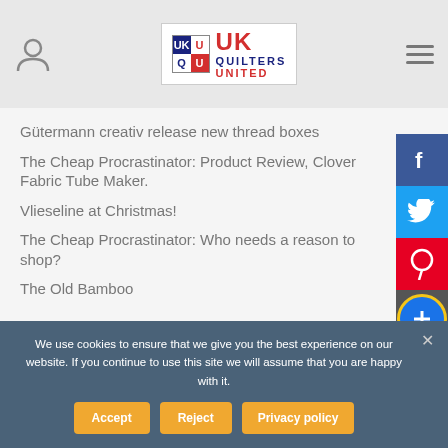UK Quilters United
Gütermann creativ release new thread boxes
The Cheap Procrastinator: Product Review, Clover Fabric Tube Maker.
Vlieseline at Christmas!
The Cheap Procrastinator: Who needs a reason to shop?
The Old Bamboo
We use cookies to ensure that we give you the best experience on our website. If you continue to use this site we will assume that you are happy with it.